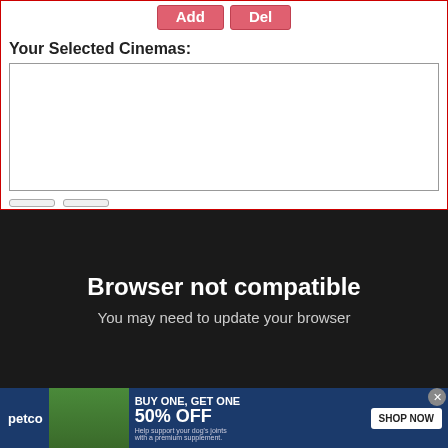[Figure (screenshot): Two buttons labeled Add and Del with red/pink background, part of a cinema selection web form UI]
Your Selected Cinemas:
[Figure (screenshot): Empty white list box for selected cinemas, bordered in gray]
Browser not compatible
You may need to update your browser
[Figure (infographic): Petco advertisement: BUY ONE, GET ONE 50% OFF. Help support your dog's joints with a premium supplement. SHOP NOW button. Shows woman with dog and supplement bottle.]